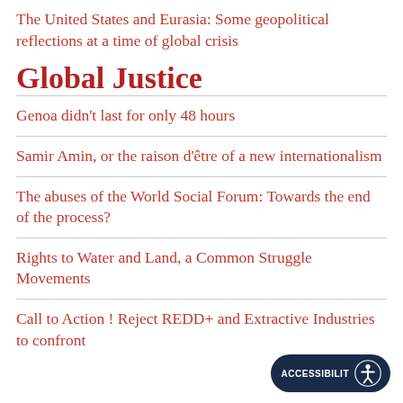The United States and Eurasia: Some geopolitical reflections at a time of global crisis
Global Justice
Genoa didn't last for only 48 hours
Samir Amin, or the raison d'être of a new internationalism
The abuses of the World Social Forum: Towards the end of the process?
Rights to Water and Land, a Common Struggle Movements
Call to Action ! Reject REDD+ and Extractive Industries to confront